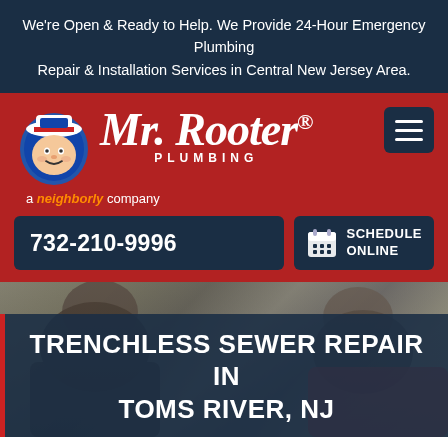We're Open & Ready to Help. We Provide 24-Hour Emergency Plumbing Repair & Installation Services in Central New Jersey Area.
[Figure (logo): Mr. Rooter Plumbing logo with mascot character in white plumber hat, brand name in large serif script, 'PLUMBING' in spaced caps, 'a neighborly company' tagline, on red background]
732-210-9996
SCHEDULE ONLINE
[Figure (photo): Photo of two men facing each other in a home setting, appearing to discuss something]
TRENCHLESS SEWER REPAIR IN TOMS RIVER, NJ